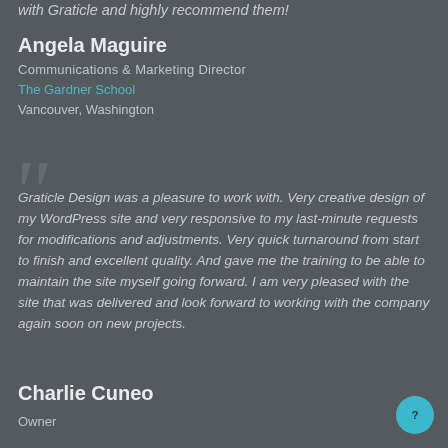with Graticle and highly recommend them!
Angela Maguire
Communications & Marketing Director
The Gardner School
Vancouver, Washington
Graticle Design was a pleasure to work with. Very creative design of my WordPress site and very responsive to my last-minute requests for modifications and adjustments. Very quick turnaround from start to finish and excellent quality. And gave me the training to be able to maintain the site myself going forward. I am very pleased with the site that was delivered and look forward to working with the company again soon on new projects.
Charlie Cuneo
Owner